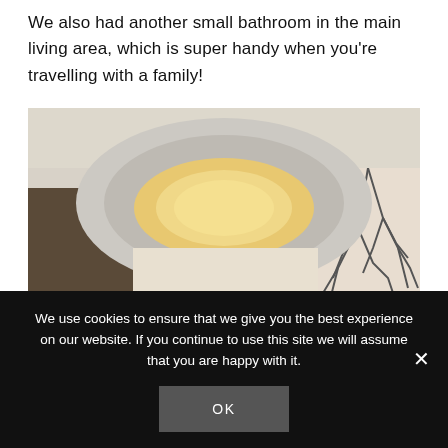We also had another small bathroom in the main living area, which is super handy when you're travelling with a family!
[Figure (photo): Interior photo of a hotel bathroom showing a large circular recessed ceiling light fixture with warm ambient glow, a rain shower head on the left, white walls, and a decorative patterned glass partition on the right.]
We use cookies to ensure that we give you the best experience on our website. If you continue to use this site we will assume that you are happy with it.
OK